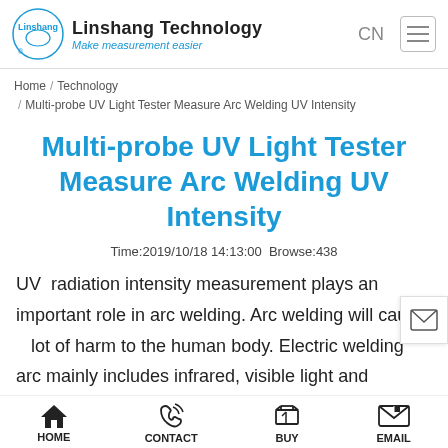Linshang Technology — Make measurement easier | CN
Home / Technology / Multi-probe UV Light Tester Measure Arc Welding UV Intensity
Multi-probe UV Light Tester Measure Arc Welding UV Intensity
Time:2019/10/18 14:13:00 Browse:438
UV radiation intensity measurement plays an important role in arc welding. Arc welding will cause a lot of harm to the human body. Electric welding arc mainly includes infrared, visible light and ultraviolet
HOME | CONTACT | BUY | EMAIL